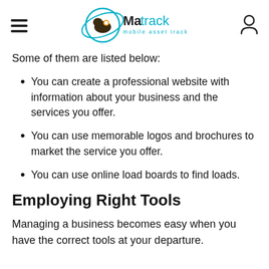Matrack mobile asset tracking
Some of them are listed below:
You can create a professional website with information about your business and the services you offer.
You can use memorable logos and brochures to market the service you offer.
You can use online load boards to find loads.
Employing Right Tools
Managing a business becomes easy when you have the correct tools at your departure.